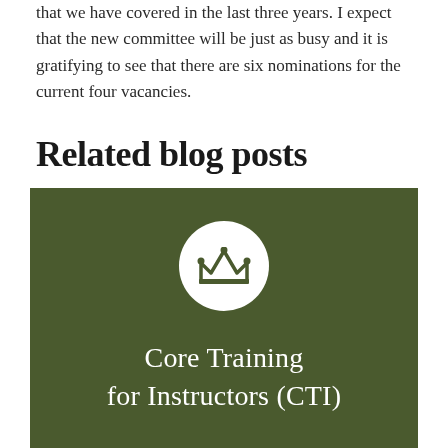that we have covered in the last three years.  I expect that the new committee will be just as busy and it is gratifying to see that there are six nominations for the current four vacancies.
Related blog posts
[Figure (illustration): Dark olive green banner image with a white circle containing a crown icon, and white serif text reading 'Core Training for Instructors (CTI)']